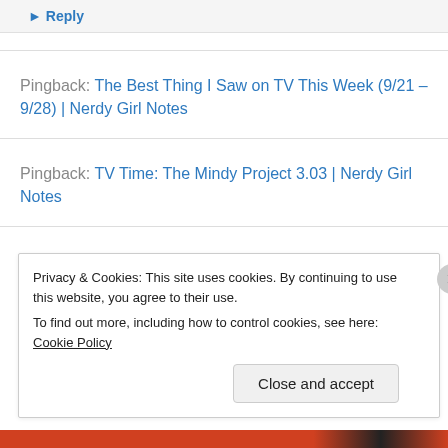▸ Reply
Pingback: The Best Thing I Saw on TV This Week (9/21 – 9/28) | Nerdy Girl Notes
Pingback: TV Time: The Mindy Project 3.03 | Nerdy Girl Notes
Pingback: TV Time: The Mindy Project 3.06 | Nerdy Girl Notes
Privacy & Cookies: This site uses cookies. By continuing to use this website, you agree to their use.
To find out more, including how to control cookies, see here: Cookie Policy
Close and accept